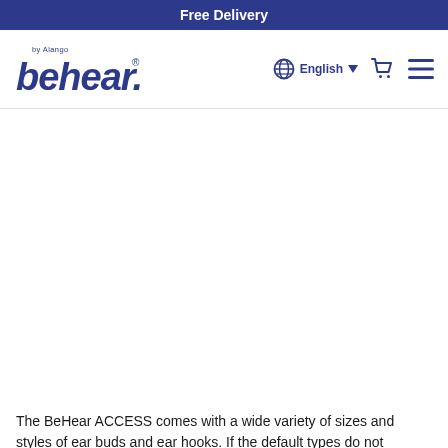Free Delivery
[Figure (logo): behear by Alango logo in dark navy blue]
English
The BeHear ACCESS comes with a wide variety of sizes and styles of ear buds and ear hooks. If the default types do not